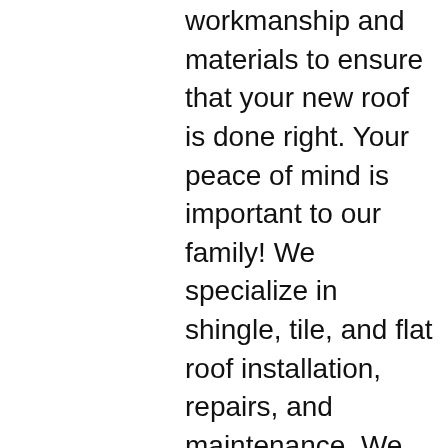workmanship and materials to ensure that your new roof is done right. Your peace of mind is important to our family! We specialize in shingle, tile, and flat roof installation, repairs, and maintenance. We offer competitive prices and written guarantees, and provide customer friendly service from our entire staff. We make it a point to provide helpful information and knowledge to educate our customers and address all individual needs and requirements.